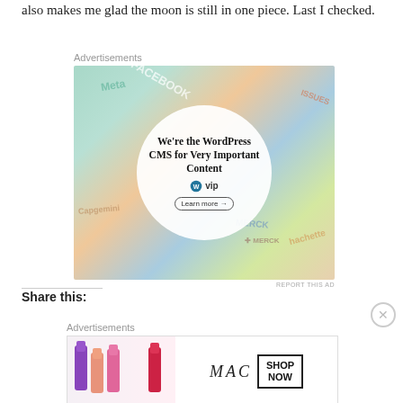also makes me glad the moon is still in one piece. Last I checked.
Advertisements
[Figure (screenshot): WordPress VIP advertisement showing 'We're the WordPress CMS for Very Important Content' in a white circle over a collage of brand logos including Meta, Facebook, Capgemini, Merck, Hachette. Learn more button at bottom.]
REPORT THIS AD
Share this:
Advertisements
[Figure (screenshot): MAC Cosmetics advertisement showing lipsticks on left and MAC logo with SHOP NOW box on right.]